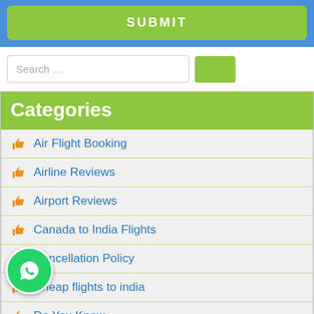[Figure (screenshot): Green SUBMIT button with blue background border]
[Figure (screenshot): Search input field with green search button]
Categories
Air Flight Booking
Airline Reviews
Airport Reviews
Canada to India Flights
Cancellation Policy
Cheap flights to india
Do You Know
Last Minute Flights To India
late night flights
NEWS
Restricted Items
[Figure (logo): WhatsApp circular badge icon]